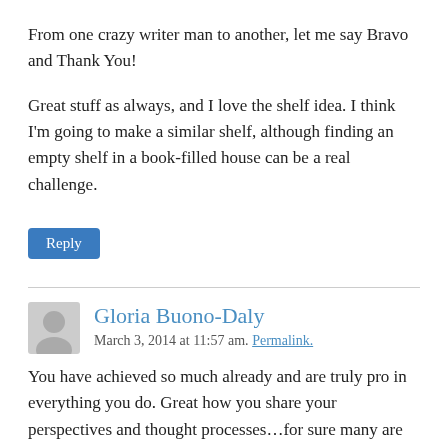From one crazy writer man to another, let me say Bravo and Thank You!
Great stuff as always, and I love the shelf idea. I think I'm going to make a similar shelf, although finding an empty shelf in a book-filled house can be a real challenge.
Reply
Gloria Buono-Daly
March 3, 2014 at 11:57 am. Permalink.
You have achieved so much already and are truly pro in everything you do. Great how you share your perspectives and thought processes…for sure many are